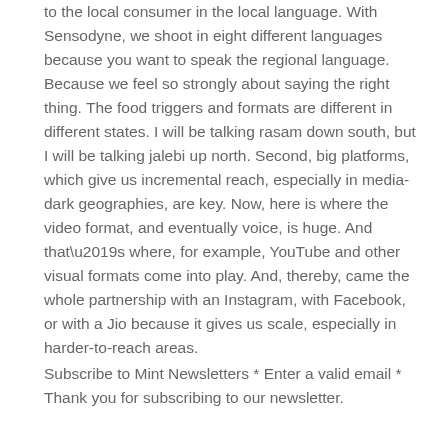to the local consumer in the local language. With Sensodyne, we shoot in eight different languages because you want to speak the regional language. Because we feel so strongly about saying the right thing. The food triggers and formats are different in different states. I will be talking rasam down south, but I will be talking jalebi up north. Second, big platforms, which give us incremental reach, especially in media-dark geographies, are key. Now, here is where the video format, and eventually voice, is huge. And that’s where, for example, YouTube and other visual formats come into play. And, thereby, came the whole partnership with an Instagram, with Facebook, or with a Jio because it gives us scale, especially in harder-to-reach areas.
Subscribe to Mint Newsletters * Enter a valid email * Thank you for subscribing to our newsletter.